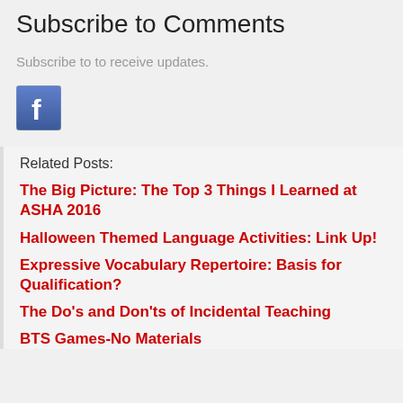Subscribe to Comments
Subscribe to to receive updates.
[Figure (logo): Facebook logo icon button — blue square with white 'f' letter]
Related Posts:
The Big Picture: The Top 3 Things I Learned at ASHA 2016
Halloween Themed Language Activities: Link Up!
Expressive Vocabulary Repertoire: Basis for Qualification?
The Do's and Don'ts of Incidental Teaching
BTS Games-No Materials Needed!